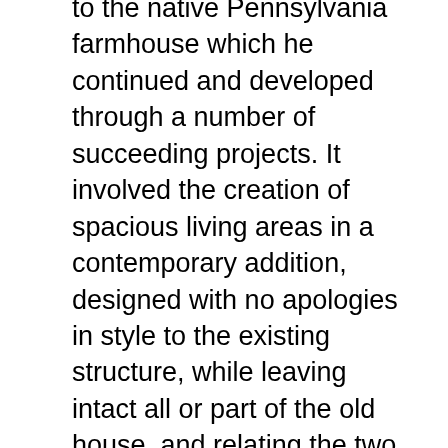to the native Pennsylvania farmhouse which he continued and developed through a number of succeeding projects. It involved the creation of spacious living areas in a contemporary addition, designed with no apologies in style to the existing structure, while leaving intact all or part of the old house, and relating the two by scale and materials rather than stylistic detail.
This is, further, a less obvious but more profound significance to Stonorov's "contemporary farmhouse" and the farm over which it presides. Reflected there is an attempt to resolve some of the disparate and sometimes paradoxical elements of his social and environmental philosophy.
Stonorov described himself, in architectural simile, as "... Le Corbusier by intellect, Frank Lloyd Wright by instinct." Both a cosmopolitan urbanist and a lover of the rural environment, he was concerned about man's